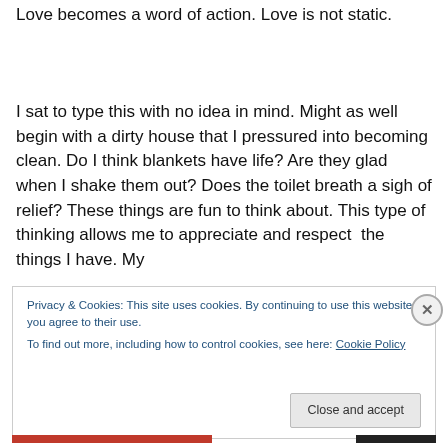Love becomes a word of action. Love is not static.
I sat to type this with no idea in mind. Might as well begin with a dirty house that I pressured into becoming clean. Do I think blankets have life? Are they glad when I shake them out? Does the toilet breath a sigh of relief? These things are fun to think about. This type of thinking allows me to appreciate and respect  the things I have. My
Privacy & Cookies: This site uses cookies. By continuing to use this website, you agree to their use.
To find out more, including how to control cookies, see here: Cookie Policy
Close and accept